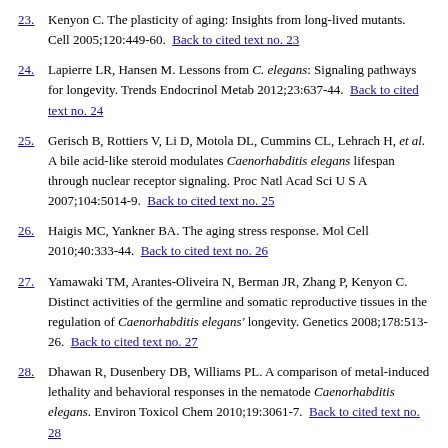23. Kenyon C. The plasticity of aging: Insights from long-lived mutants. Cell 2005;120:449-60. Back to cited text no. 23
24. Lapierre LR, Hansen M. Lessons from C. elegans: Signaling pathways for longevity. Trends Endocrinol Metab 2012;23:637-44. Back to cited text no. 24
25. Gerisch B, Rottiers V, Li D, Motola DL, Cummins CL, Lehrach H, et al. A bile acid-like steroid modulates Caenorhabditis elegans lifespan through nuclear receptor signaling. Proc Natl Acad Sci U S A 2007;104:5014-9. Back to cited text no. 25
26. Haigis MC, Yankner BA. The aging stress response. Mol Cell 2010;40:333-44. Back to cited text no. 26
27. Yamawaki TM, Arantes-Oliveira N, Berman JR, Zhang P, Kenyon C. Distinct activities of the germline and somatic reproductive tissues in the regulation of Caenorhabditis elegans' longevity. Genetics 2008;178:513-26. Back to cited text no. 27
28. Dhawan R, Dusenbery DB, Williams PL. A comparison of metal-induced lethality and behavioral responses in the nematode Caenorhabditis elegans. Environ Toxicol Chem 2010;19:3061-7. Back to cited text no. 28
Figure: 1